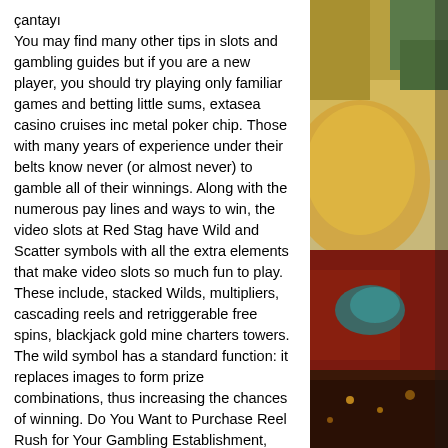çantayı
You may find many other tips in slots and gambling guides but if you are a new player, you should try playing only familiar games and betting little sums, extasea casino cruises inc metal poker chip. Those with many years of experience under their belts know never (or almost never) to gamble all of their winnings. Along with the numerous pay lines and ways to win, the video slots at Red Stag have Wild and Scatter symbols with all the extra elements that make video slots so much fun to play. These include, stacked Wilds, multipliers, cascading reels and retriggerable free spins, blackjack gold mine charters towers. The wild symbol has a standard function: it replaces images to form prize combinations, thus increasing the chances of winning. Do You Want to Purchase Reel Rush for Your Gambling Establishment, extasea casino cruises inc
[Figure (photo): Colorful artistic image on the right side of the page, appears to be a decorative or casino-themed illustration with warm yellows, reds, blues and greens.]